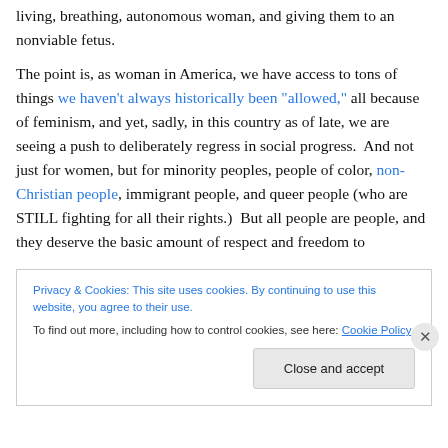living, breathing, autonomous woman, and giving them to an nonviable fetus.

The point is, as woman in America, we have access to tons of things we haven't always historically been "allowed," all because of feminism, and yet, sadly, in this country as of late, we are seeing a push to deliberately regress in social progress. And not just for women, but for minority peoples, people of color, non-Christian people, immigrant people, and queer people (who are STILL fighting for all their rights.) But all people are people, and they deserve the basic amount of respect and freedom to
Privacy & Cookies: This site uses cookies. By continuing to use this website, you agree to their use.
To find out more, including how to control cookies, see here: Cookie Policy
Close and accept